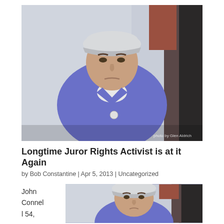[Figure (photo): Photo of a middle-aged man wearing a white baseball cap and blue shirt, looking at the camera. Watermark reads 'photo by Glen Aldrich'.]
Longtime Juror Rights Activist is at it Again
by Bob Constantine | Apr 5, 2013 | Uncategorized
John Connel l 54,
[Figure (photo): Partial photo of the same man in white baseball cap and blue shirt, cropped at the bottom of the page.]